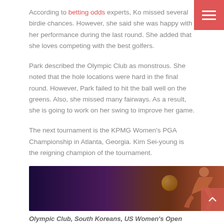According to betting odds experts, Ko missed several birdie chances. However, she said she was happy with her performance during the last round. She added that she loves competing with the best golfers.
Park described the Olympic Club as monstrous. She noted that the hole locations were hard in the final round. However, Park failed to hit the ball well on the greens. Also, she missed many fairways. As a result, she is going to work on her swing to improve her game.
The next tournament is the KPMG Women's PGA Championship in Atlanta, Georgia. Kim Sei-young is the reigning champion of the tournament.
[Figure (photo): A sports-themed image with a dark purple/maroon gradient background, a golden ball or globe in the center-left area, and an athlete figure on the right side against an orange-red background.]
Olympic Club, South Koreans, US Women's Open